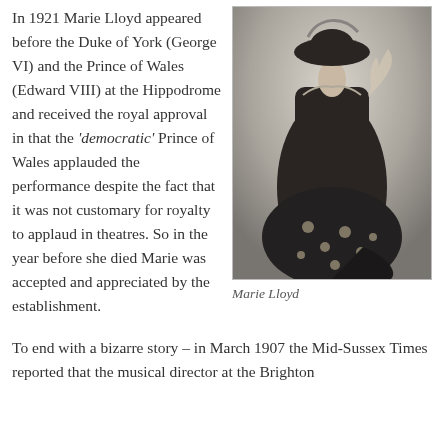In 1921 Marie Lloyd appeared before the Duke of York (George VI) and the Prince of Wales (Edward VIII) at the Hippodrome and received the royal approval in that the 'democratic' Prince of Wales applauded the performance despite the fact that it was not customary for royalty to applaud in theatres. So in the year before she died Marie was accepted and appreciated by the establishment.
[Figure (photo): Black and white vintage portrait photograph of Marie Lloyd, a woman wearing an elaborate dark dress with polka dots and a large decorative hat, posing theatrically. The label 'MARIE LLOYD' appears at the top right of the photo.]
Marie Lloyd
To end with a bizarre story – in March 1907 the Mid-Sussex Times reported that the musical director at the Brighton